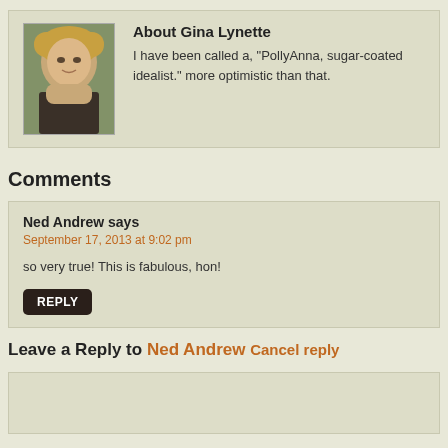[Figure (photo): Profile photo of Gina Lynette, a smiling woman with blonde hair and glasses]
About Gina Lynette
I have been called a, "PollyAnna, sugar-coated idealist." more optimistic than that.
Comments
Ned Andrew says
September 17, 2013 at 9:02 pm
so very true! This is fabulous, hon!
REPLY
Leave a Reply to Ned Andrew Cancel reply